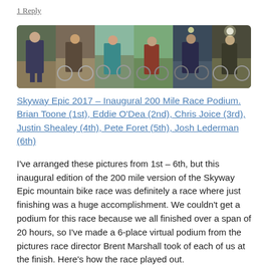1 Reply
[Figure (photo): A horizontal strip of 6 photos showing cyclists at the finish of the Skyway Epic 2017 race, arranged side by side. Various outdoor/nighttime finish line shots.]
Skyway Epic 2017 – Inaugural 200 Mile Race Podium. Brian Toone (1st), Eddie O'Dea (2nd), Chris Joice (3rd), Justin Shealey (4th), Pete Foret (5th), Josh Lederman (6th)
I've arranged these pictures from 1st – 6th, but this inaugural edition of the 200 mile version of the Skyway Epic mountain bike race was definitely a race where just finishing was a huge accomplishment. We couldn't get a podium for this race because we all finished over a span of 20 hours, so I've made a 6-place virtual podium from the pictures race director Brent Marshall took of each of us at the finish. Here's how the race played out.